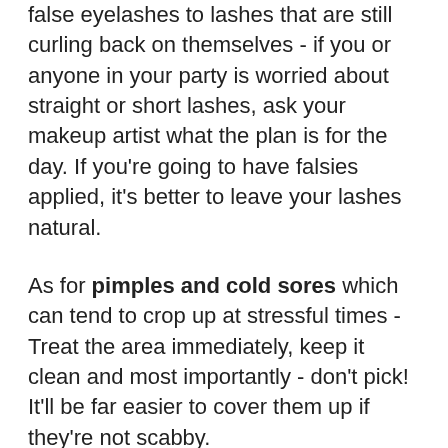false eyelashes to lashes that are still curling back on themselves - if you or anyone in your party is worried about straight or short lashes, ask your makeup artist what the plan is for the day. If you're going to have falsies applied, it's better to leave your lashes natural.
As for pimples and cold sores which can tend to crop up at stressful times - Treat the area immediately, keep it clean and most importantly - don't pick! It'll be far easier to cover them up if they're not scabby.
Talk to your hairstylist about a plan for your hair in terms of colour. If you're touching up an existing colour, a week